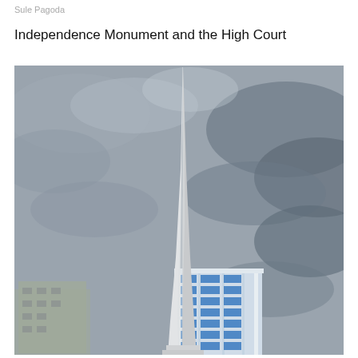Sule Pagoda
Independence Monument and the High Court
[Figure (photo): Photograph taken from ground level looking up at a tall white obelisk-style monument (Independence Monument) against an overcast grey sky. Behind the monument is a blue glass modern skyscraper building and other buildings visible at the lower left. The monument tapers to a sharp point at the top.]